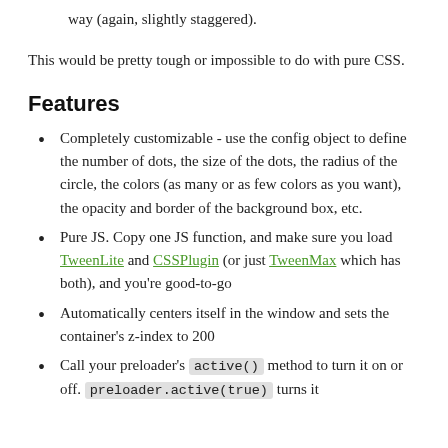way (again, slightly staggered).
This would be pretty tough or impossible to do with pure CSS.
Features
Completely customizable - use the config object to define the number of dots, the size of the dots, the radius of the circle, the colors (as many or as few colors as you want), the opacity and border of the background box, etc.
Pure JS. Copy one JS function, and make sure you load TweenLite and CSSPlugin (or just TweenMax which has both), and you're good-to-go
Automatically centers itself in the window and sets the container's z-index to 200
Call your preloader's active() method to turn it on or off. preloader.active(true) turns it